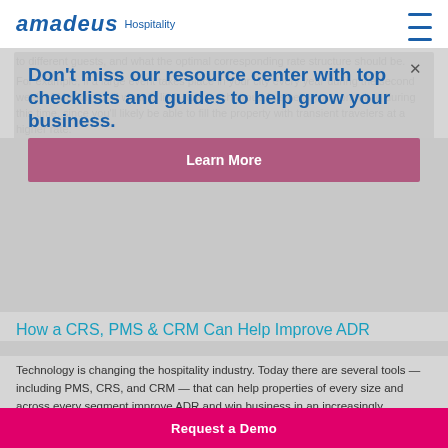amadeus Hospitality
to different guests, and what the optimal corresponding rate structure should be.
For example, if a large event takes place in your city every year during the second week of March, you'll want to limit how much group business you commit to during this time, since you'll likely be able to fill the property with transient travelers at a higher rate.
Don't miss our resource center with top checklists and guides to help grow your business.
Learn More
How a CRS, PMS & CRM Can Help Improve ADR
Technology is changing the hospitality industry. Today there are several tools — including PMS, CRS, and CRM — that can help properties of every size and across every segment improve ADR and win business in an increasingly competitive atmosphere.
A PMS, or property management system, can help you
Request a Demo